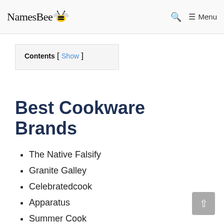NamesBee — Menu
Contents [ Show ]
Best Cookware Brands
The Native Falsify
Granite Galley
Celebratedcook
Apparatus
Summer Cook
The Marvelous Prepare
Arria Us
Slowcook